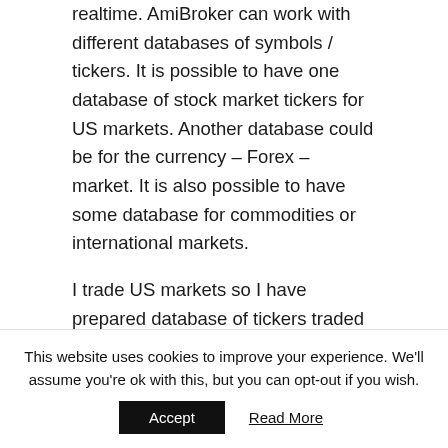realtime. AmiBroker can work with different databases of symbols / tickers. It is possible to have one database of stock market tickers for US markets. Another database could be for the currency – Forex – market. It is also possible to have some database for commodities or international markets.
I trade US markets so I have prepared database of tickers traded on US stock exchanges. When the database is created and opened in AmiBroker then it is empty. There is no historical stock
This website uses cookies to improve your experience. We'll assume you're ok with this, but you can opt-out if you wish.
Accept | Read More